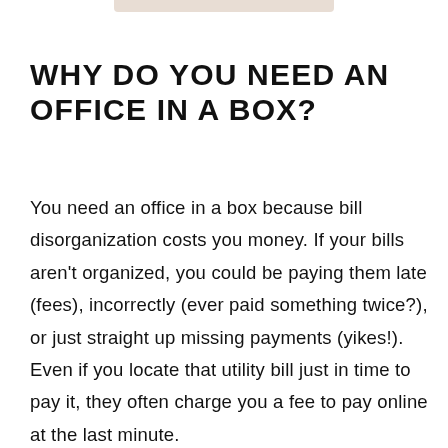WHY DO YOU NEED AN OFFICE IN A BOX?
You need an office in a box because bill disorganization costs you money. If your bills aren't organized, you could be paying them late (fees), incorrectly (ever paid something twice?), or just straight up missing payments (yikes!). Even if you locate that utility bill just in time to pay it, they often charge you a fee to pay online at the last minute.